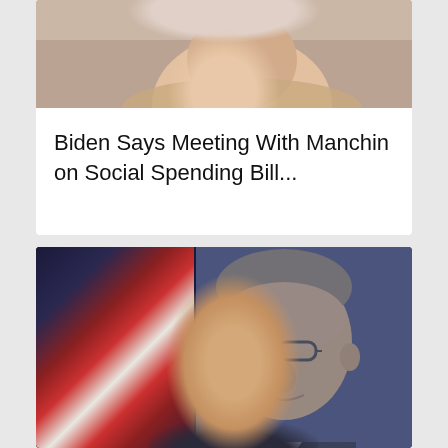[Figure (photo): Close-up photo of a smiling older man in a light blue shirt, cropped to show face and upper body — appears to be Joe Biden]
Biden Says Meeting With Manchin on Social Spending Bill...
[Figure (photo): Official portrait of a middle-aged man with short gray-brown hair and glasses, wearing a dark suit and white shirt, posed in front of an American flag against a blue-gray background — appears to be the new NHTSA Chief]
New NHTSA Chief: Agency to Scrutinize Auto-Driver Technology